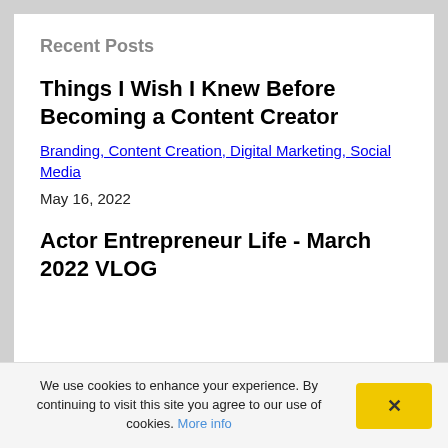Recent Posts
Things I Wish I Knew Before Becoming a Content Creator
Branding, Content Creation, Digital Marketing, Social Media
May 16, 2022
Actor Entrepreneur Life - March 2022 VLOG
We use cookies to enhance your experience. By continuing to visit this site you agree to our use of cookies. More info